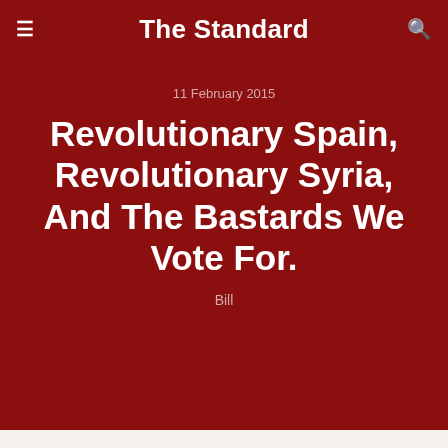The Standard
11 February 2015
Revolutionary Spain, Revolutionary Syria, And The Bastards We Vote For.
Bill
Imagine this – a society where women and men are afforded equal rights and decisions are the result of deeply participatory and grassroots democratic procedures. Believe it or not, that's the case in Syria today within the autonomous cantons of Efrin, Kobane and Cizire where